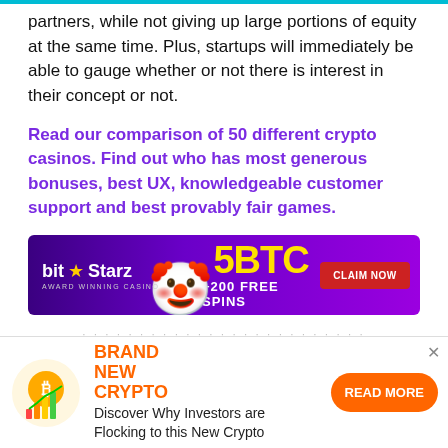partners, while not giving up large portions of equity at the same time. Plus, startups will immediately be able to gauge whether or not there is interest in their concept or not.
Read our comparison of 50 different crypto casinos. Find out who has most generous bonuses, best UX, knowledgeable customer support and best provably fair games.
[Figure (infographic): BitStarz Award Winning Casino banner advertisement. Purple gradient background with jester character. Shows '5BTC +200 FREE SPINS' in yellow text and a red 'CLAIM NOW' button.]
Source: Tech In Asia
[Figure (infographic): Advertisement banner at bottom: orange crypto coin icon with chart, 'BRAND NEW CRYPTO' in orange text, 'Discover Why Investors are Flocking to this New Crypto' body text, and orange 'READ MORE' button. Close X in top right.]